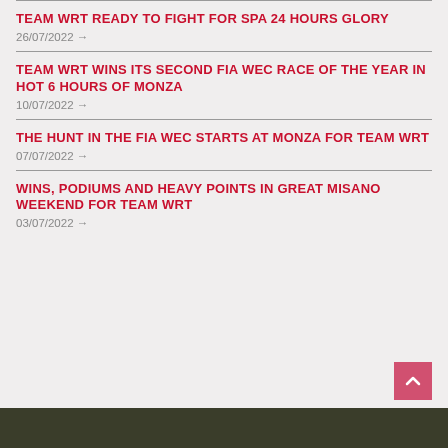TEAM WRT READY TO FIGHT FOR SPA 24 HOURS GLORY
26/07/2022 →
TEAM WRT WINS ITS SECOND FIA WEC RACE OF THE YEAR IN HOT 6 HOURS OF MONZA
10/07/2022 →
THE HUNT IN THE FIA WEC STARTS AT MONZA FOR TEAM WRT
07/07/2022 →
WINS, PODIUMS AND HEAVY POINTS IN GREAT MISANO WEEKEND FOR TEAM WRT
03/07/2022 →